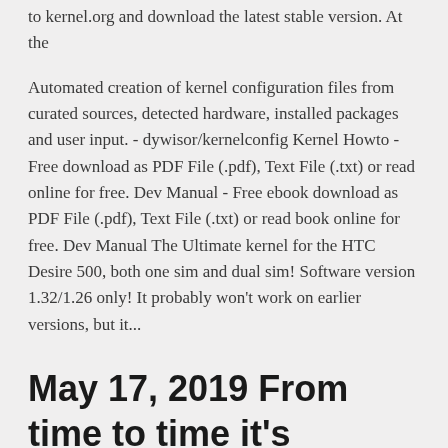to kernel.org and download the latest stable version. At the
Automated creation of kernel configuration files from curated sources, detected hardware, installed packages and user input. - dywisor/kernelconfig Kernel Howto - Free download as PDF File (.pdf), Text File (.txt) or read online for free. Dev Manual - Free ebook download as PDF File (.pdf), Text File (.txt) or read book online for free. Dev Manual The Ultimate kernel for the HTC Desire 500, both one sim and dual sim! Software version 1.32/1.26 only! It probably won't work on earlier versions, but it...
May 17, 2019 From time to time it's required to compile some Linux kernel specific software on your